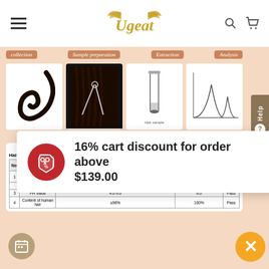Ugeat (logo) — navigation header with hamburger menu, search icon, and cart icon
[Figure (infographic): Hair extension quality testing infographic showing 4 steps: Collection (image of hair extension curl), Sample preparation (scissors/tweezers taking a small part of Ugeat Hair Extensions), Extraction (test tube with Hair sample label), Analysis (chromatography peaks chart). Steps labeled with arrow-shaped badges. Background is peach/salmon color.]
Take a small part of Ugeat Hair Extensions
| No. | Item | Requirement | In accordance with the requirement | Result |
| --- | --- | --- | --- | --- |
| 1 | Sensory | product should feel consistent, no hair loss. The curvature should be natural, fluffy, flexible. Clean and no foreign matter. | In accordance with the requirement | Pass |
|  | Formaldehyde | ≤75mg/kg | Not detected (<20mg/kg) | Pass |
| 3 | PH Value | 4.0-9.0 | 8.0 | Pass |
| 4 | Content of human hair | ≥98% | 100% | Pass |
16% cart discount for order above $139.00
[Figure (illustration): Red circular badge with white price tag / discount icon (scissors and tag symbol)]
[Figure (illustration): Orange circular close/X button]
[Figure (illustration): Brown circular calendar/help icon bottom left]